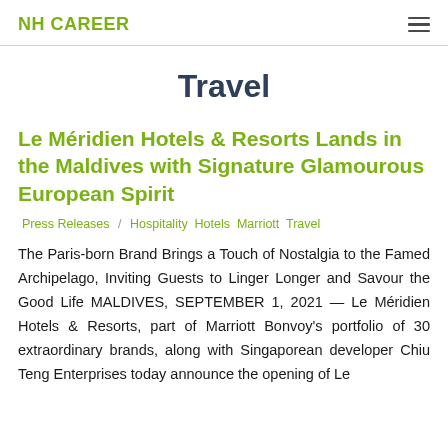NH CAREER
Travel
Le Méridien Hotels & Resorts Lands in the Maldives with Signature Glamourous European Spirit
Press Releases / Hospitality Hotels Marriott Travel
The Paris-born Brand Brings a Touch of Nostalgia to the Famed Archipelago, Inviting Guests to Linger Longer and Savour the Good Life MALDIVES, SEPTEMBER 1, 2021 — Le Méridien Hotels & Resorts, part of Marriott Bonvoy's portfolio of 30 extraordinary brands, along with Singaporean developer Chiu Teng Enterprises today announce the opening of Le